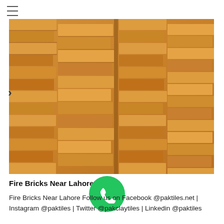≡
[Figure (photo): Stacked fire bricks in orange/yellow tones, arranged in large piles filling the frame.]
Fire Bricks Near Lahore
Fire Bricks Near Lahore Follow us on Facebook @paktiles.net | Instagram @paktiles | Twitter @pakclaytiles | Linkedin @paktiles